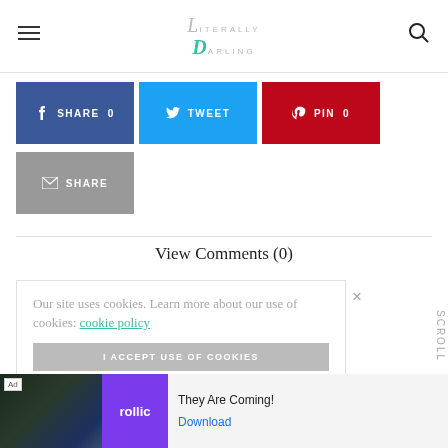Literally Darling
[Figure (screenshot): Social share buttons: Facebook SHARE 0, Twitter TWEET, Pinterest PIN 0, Email SHARE]
View Comments (0)
Our site uses cookies. Learn more about our use of cookies: cookie policy
I ACCEPT USE OF COOKIES
SCROLL
[Figure (screenshot): Advertisement banner: Ad | rollic | They Are Coming! | Download]